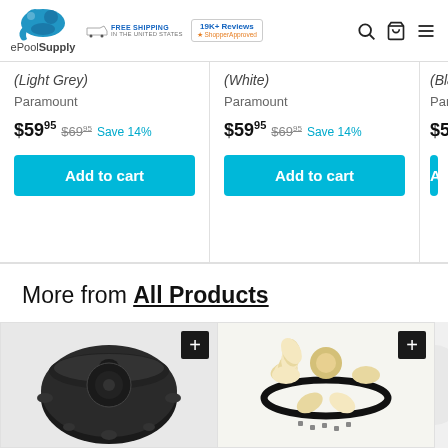ePoolSupply — FREE SHIPPING IN THE UNITED STATES — 19K+ Reviews — ShopperApproved
(Light Grey) Paramount $59.95 $69.95 Save 14%
(White) Paramount $59.95 $69.95 Save 14%
(Black) Paramount $59.95
More from All Products
[Figure (photo): Black circular pool drain or fitting component viewed from above]
[Figure (photo): White and gold decorative pool fitting or nozzle assembly with O-ring and hardware]